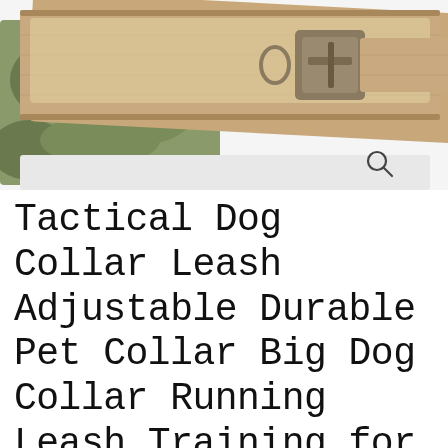[Figure (photo): Product photo of a tan/khaki tactical dog collar with military-style buckle, shown with a camouflage bag labeled 'FIRE BULL' in the background. A magnifying glass search icon and a chevron/down arrow appear overlaid on the lower right area of the image.]
Tactical Dog Collar Leash Adjustable Durable Pet Collar Big Dog Collar Running Leash Training for Medium Large Dogs Accessories